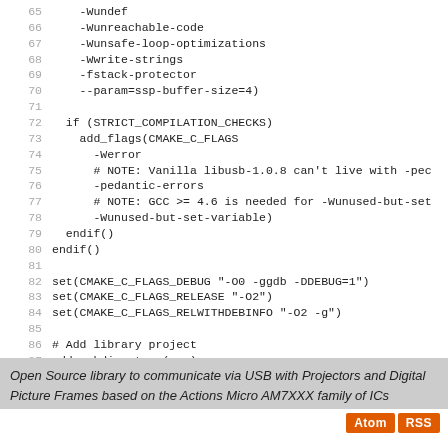65   -Wundef
66   -Wunreachable-code
67   -Wunsafe-loop-optimizations
68   -Wwrite-strings
69   -fstack-protector
70   --param=ssp-buffer-size=4)
71
72   if (STRICT_COMPILATION_CHECKS)
73     add_flags(CMAKE_C_FLAGS
74       -Werror
75       # NOTE: Vanilla libusb-1.0.8 can't live with -ped
76       -pedantic-errors
77       # NOTE: GCC >= 4.6 is needed for -Wunused-but-set
78       -Wunused-but-set-variable)
79   endif()
80 endif()
81
82 set(CMAKE_C_FLAGS_DEBUG "-O0 -ggdb -DDEBUG=1")
83 set(CMAKE_C_FLAGS_RELEASE "-O2")
84 set(CMAKE_C_FLAGS_RELWITHDEBINFO "-O2 -g")
85
86 # Add library project
87 add_subdirectory(src)
88 add_subdirectory(examples)
89 add_subdirectory(doc)
Open Source library to communicate via USB with Projectors and Digital Picture Frames based on the Actions Micro AM7XXX family of ICs